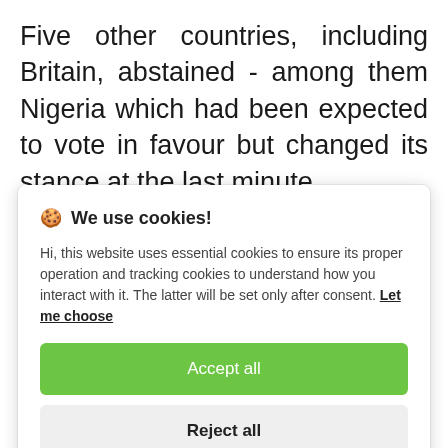Five other countries, including Britain, abstained - among them Nigeria which had been expected to vote in favour but changed its stance at the last minute.
[Figure (screenshot): Cookie consent dialog overlay with title 'We use cookies!', body text about essential and tracking cookies, a 'Let me choose' link, an 'Accept all' green button, and a 'Reject all' grey button.]
though the resolution would in all